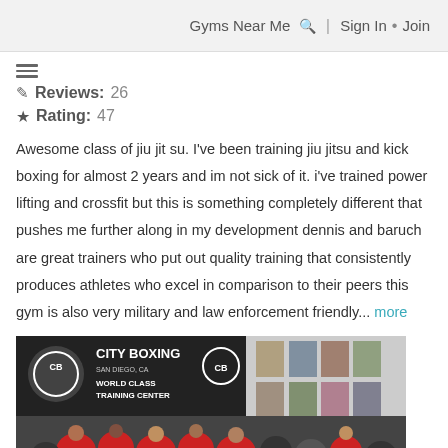Gyms Near Me 🔍 | Sign In · Join
☰
✏ Reviews: 26
★ Rating: 47
Awesome class of jiu jit su. I've been training jiu jitsu and kick boxing for almost 2 years and im not sick of it. i've trained power lifting and crossfit but this is something completely different that pushes me further along in my development dennis and baruch are great trainers who put out quality training that consistently produces athletes who excel in comparison to their peers this gym is also very military and law enforcement friendly... more
[Figure (photo): Photo of City Boxing San Diego World Class Training Center interior with people in red shirts gathered under a City Boxing banner]